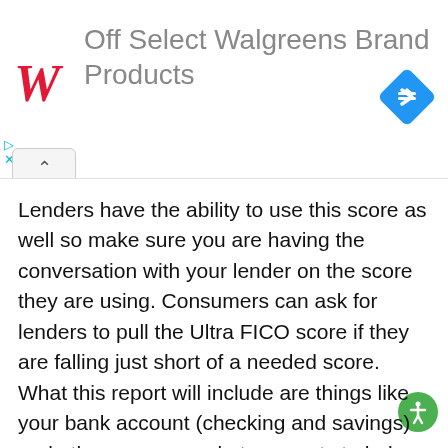[Figure (screenshot): Walgreens advertisement banner showing Walgreens cursive logo in red, text 'Off Select Walgreens Brand Products' in grey, and a blue navigation diamond icon on the right. Below the banner are ad control icons (play, close) and a collapse button with an upward caret.]
Lenders have the ability to use this score as well so make sure you are having the conversation with your lender on the score they are using. Consumers can ask for lenders to pull the Ultra FICO score if they are falling just short of a needed score. What this report will include are things like your bank account (checking and savings) and other money market accounts to help possibly give a small boost of your score.
What this also allows is for the lenders and creditors